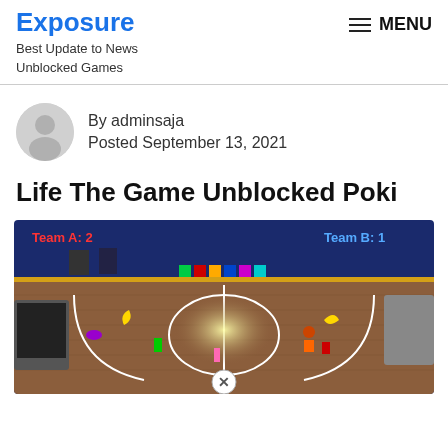Exposure
Best Update to News Unblocked Games
MENU
[Figure (illustration): Author avatar: gray circle with silhouette of a person]
By adminsaja
Posted September 13, 2021
Life The Game Unblocked Poki
[Figure (screenshot): Screenshot of a basketball court game with colorful objects, showing Team A: 2 score on left and Team B: 1 score on right, with a bright center court and various 3D items scattered around, blue background walls]